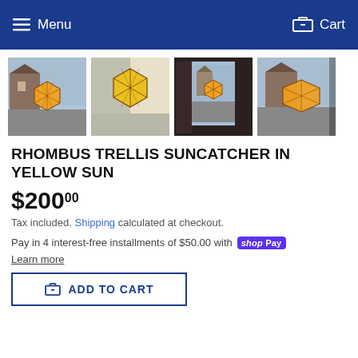Menu   Cart
[Figure (photo): Four product thumbnail images of a hexagonal rhombus trellis suncatcher in yellow/orange color, shown outdoors and indoors in various settings.]
RHOMBUS TRELLIS SUNCATCHER IN YELLOW SUN
$200.00
Tax included. Shipping calculated at checkout.
Pay in 4 interest-free installments of $50.00 with shop Pay
Learn more
ADD TO CART